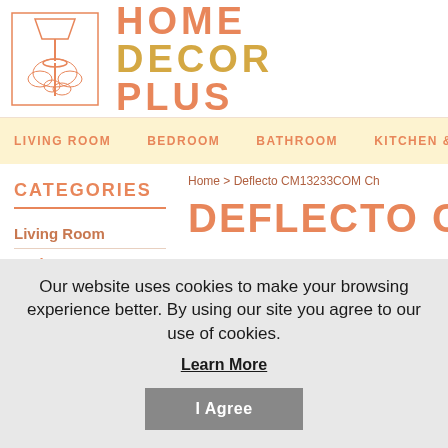[Figure (logo): Home Decor Plus logo with lamp and tree illustration and text HOME DECOR PLUS]
LIVING ROOM  BEDROOM  BATHROOM  KITCHEN & DINING
Home > Deflecto CM13233COM Ch
CATEGORIES
Living Room
Bedroom
DEFLECTO C
Our website uses cookies to make your browsing experience better. By using our site you agree to our use of cookies.
Learn More
I Agree